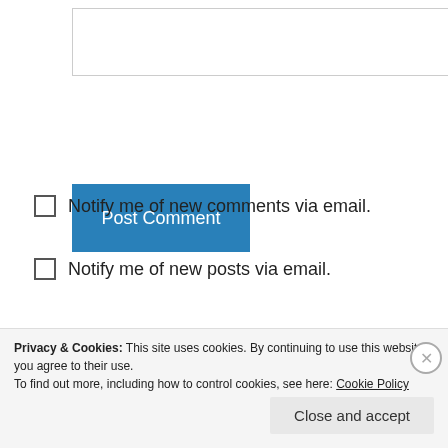[Figure (screenshot): Empty text input box with light gray border]
Post Comment
Notify me of new comments via email.
Notify me of new posts via email.
Christopher Culver on 23.04.2009 at 4:52 pm
Tide tekstum vazenam smud. Finn julmo qveh
Privacy & Cookies: This site uses cookies. By continuing to use this website, you agree to their use.
To find out more, including how to control cookies, see here: Cookie Policy
Close and accept